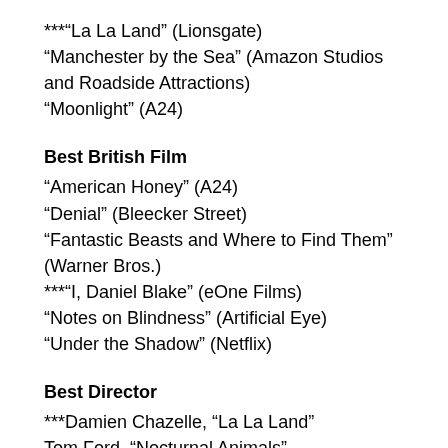***"La La Land" (Lionsgate)
"Manchester by the Sea" (Amazon Studios and Roadside Attractions)
"Moonlight" (A24)
Best British Film
"American Honey" (A24)
"Denial" (Bleecker Street)
"Fantastic Beasts and Where to Find Them" (Warner Bros.)
***"I, Daniel Blake" (eOne Films)
"Notes on Blindness" (Artificial Eye)
"Under the Shadow" (Netflix)
Best Director
***Damien Chazelle, “La La Land”
Tom Ford, “Nocturnal Animals”
Ken Loach, “I, Daniel Blake”